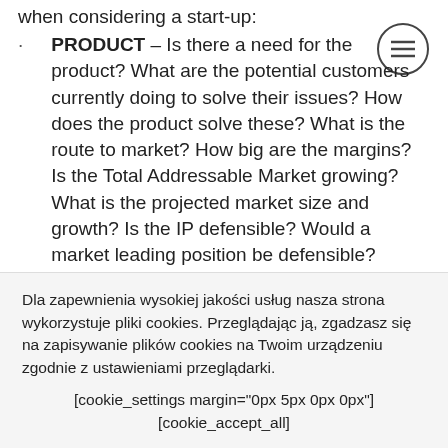when considering a start-up:
PRODUCT – Is there a need for the product? What are the potential customers currently doing to solve their issues? How does the product solve these? What is the route to market? How big are the margins? Is the Total Addressable Market growing? What is the projected market size and growth? Is the IP defensible? Would a market leading position be defensible?
TEAM - The 4 C's. Is the team Complete.
Dla zapewnienia wysokiej jakości usług nasza strona wykorzystuje pliki cookies. Przeglądając ją, zgadzasz się na zapisywanie plików cookies na Twoim urządzeniu zgodnie z ustawieniami przeglądarki.
[cookie_settings margin="0px 5px 0px 0px"] [cookie_accept_all]